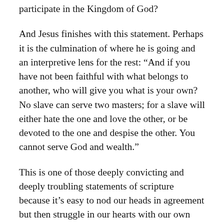participate in the Kingdom of God?
And Jesus finishes with this statement. Perhaps it is the culmination of where he is going and an interpretive lens for the rest: “And if you have not been faithful with what belongs to another, who will give you what is your own? No slave can serve two masters; for a slave will either hate the one and love the other, or be devoted to the one and despise the other. You cannot serve God and wealth.”
This is one of those deeply convicting and deeply troubling statements of scripture because it’s easy to nod our heads in agreement but then struggle in our hearts with our own wealth or our ideas about how wealth should function in our world. Money is not evil in and of itself. It’s a resource and a valuable one. But it’s also a powerful one. Our relationship with wealth and our ideas about how wealth should function can